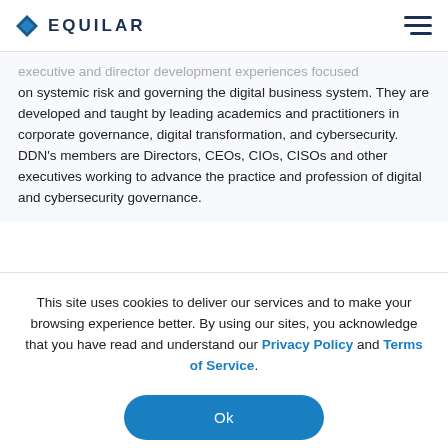EQUILAR
executive and director development experiences focused on systemic risk and governing the digital business system. They are developed and taught by leading academics and practitioners in corporate governance, digital transformation, and cybersecurity. DDN's members are Directors, CEOs, CIOs, CISOs and other executives working to advance the practice and profession of digital and cybersecurity governance.
This site uses cookies to deliver our services and to make your browsing experience better. By using our sites, you acknowledge that you have read and understand our Privacy Policy and Terms of Service.
Ok